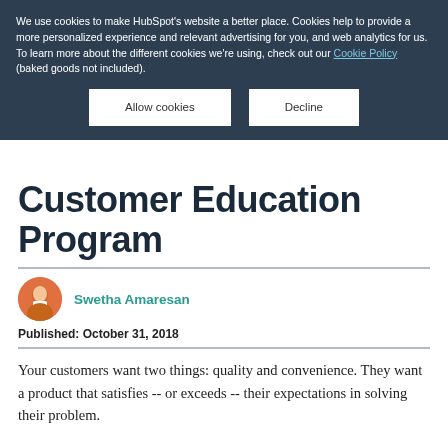We use cookies to make HubSpot's website a better place. Cookies help to provide a more personalized experience and relevant advertising for you, and web analytics for us. To learn more about the different cookies we're using, check out our Cookie Policy (baked goods not included).
Customer Education Program
[Figure (photo): Circular author photo of Swetha Amaresan, woman with dark hair and orange-toned background]
Swetha Amaresan
Published: October 31, 2018
Your customers want two things: quality and convenience. They want a product that satisfies -- or exceeds -- their expectations in solving their problem.